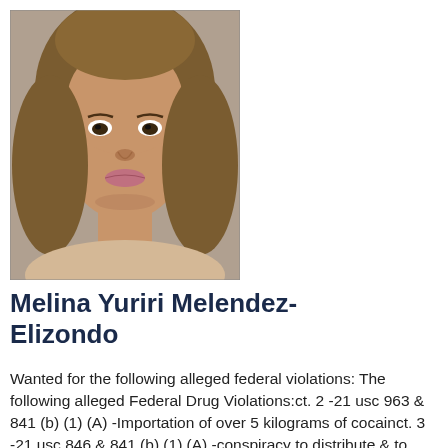[Figure (photo): Mugshot photo of Melina Yuriri Melendez-Elizondo, a young woman with curly light-brown hair, facing the camera.]
Melina Yuriri Melendez-Elizondo
Wanted for the following alleged federal violations: The following alleged Federal Drug Violations:ct. 2 -21 usc 963 & 841 (b) (1) (A) -Importation of over 5 kilograms of cocainct. 3 -21 usc 846 & 841 (b) (1) (A) -conspiracy to distribute & to possess with intent to distribute over 5 kilograms of cocaineCt. 4 -21 usc 841(a) (1) & (b) (1) (A) -Possession with intent to distribute over 5 kilograms of cocaineCt. 10 -18 USC